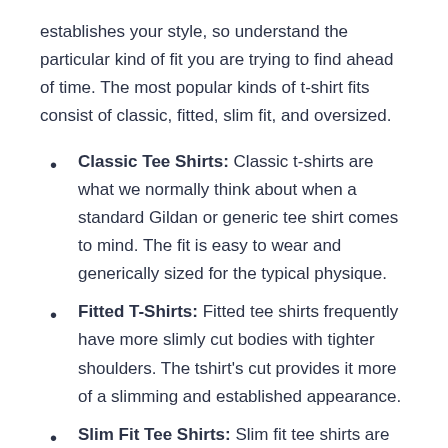establishes your style, so understand the particular kind of fit you are trying to find ahead of time. The most popular kinds of t-shirt fits consist of classic, fitted, slim fit, and oversized.
Classic Tee Shirts: Classic t-shirts are what we normally think about when a standard Gildan or generic tee shirt comes to mind. The fit is easy to wear and generically sized for the typical physique.
Fitted T-Shirts: Fitted tee shirts frequently have more slimly cut bodies with tighter shoulders. The tshirt's cut provides it more of a slimming and established appearance.
Slim Fit Tee Shirts: Slim fit tee shirts are the skinniest tshirts and are very tight fitting across the front and back, chest, and shoulders with short t-